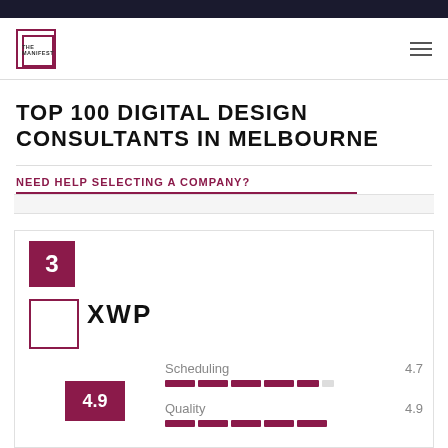THE MANIFEST
TOP 100 DIGITAL DESIGN CONSULTANTS IN MELBOURNE
NEED HELP SELECTING A COMPANY?
3
XWP
| Category | Score |
| --- | --- |
| Scheduling | 4.7 |
| Quality | 4.9 |
4.9